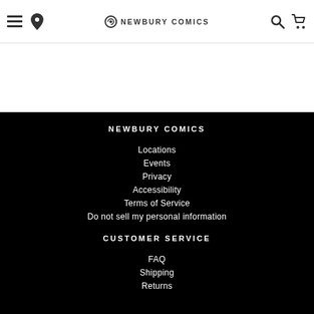≡ 📍 🌐 NEWBURY COMICS 🔍 🛒
NEWBURY COMICS
Locations
Events
Privacy
Accessibility
Terms of Service
Do not sell my personal information
CUSTOMER SERVICE
FAQ
Shipping
Returns